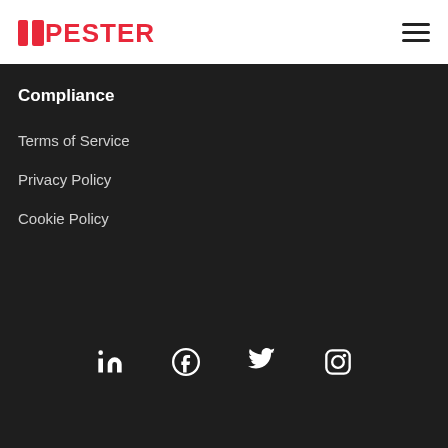APESTER
Compliance
Terms of Service
Privacy Policy
Cookie Policy
[Figure (infographic): Social media icons: LinkedIn, Facebook, Twitter, Instagram]